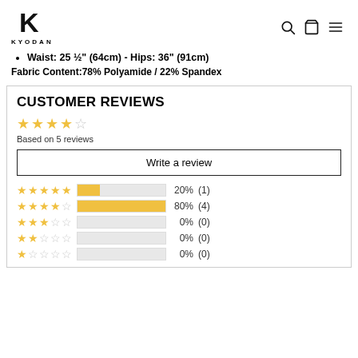KYODAN
Waist: 25 ½" (64cm) - Hips: 36" (91cm)
Fabric Content:78% Polyamide / 22% Spandex
CUSTOMER REVIEWS
Based on 5 reviews
Write a review
[Figure (bar-chart): Rating breakdown]